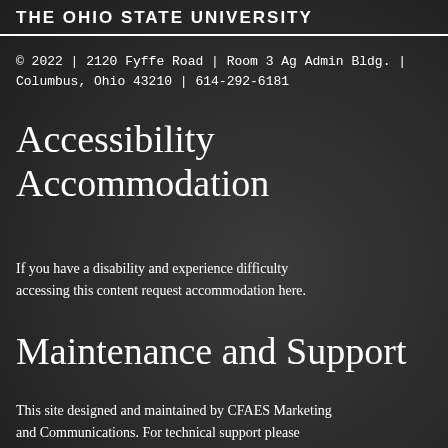The Ohio State University
© 2022 | 2120 Fyffe Road | Room 3 Ag Admin Bldg. | Columbus, Ohio 43210 | 614-292-6181
Accessibility Accommodation
If you have a disability and experience difficulty accessing this content request accommodation here.
Maintenance and Support
This site designed and maintained by CFAES Marketing and Communications. For technical support please contact the CFAES Helpdesk.